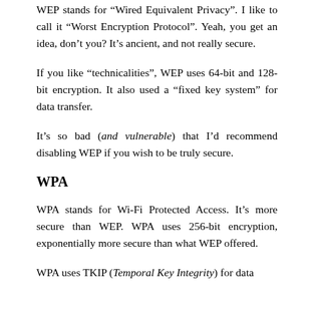WEP stands for “Wired Equivalent Privacy”. I like to call it “Worst Encryption Protocol”. Yeah, you get an idea, don’t you? It’s ancient, and not really secure.
If you like “technicalities”, WEP uses 64-bit and 128-bit encryption. It also used a “fixed key system” for data transfer.
It’s so bad (and vulnerable) that I’d recommend disabling WEP if you wish to be truly secure.
WPA
WPA stands for Wi-Fi Protected Access. It’s more secure than WEP. WPA uses 256-bit encryption, exponentially more secure than what WEP offered.
WPA uses TKIP (Temporal Key Integrity) for data